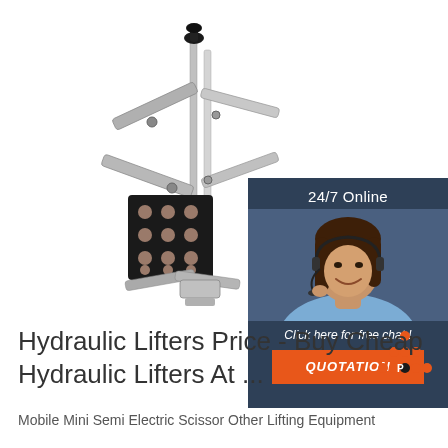[Figure (photo): Hydraulic scissor lift / clamp mechanism with aluminum frame, extending scissor arms, a black rubber-studded gripping pad, and cylindrical shafts — photographed on white background]
[Figure (photo): Chat widget inset: dark blue/slate background. Top text '24/7 Online'. Center image of a smiling woman with dark hair wearing a telephone headset. Bottom text 'Click here for free chat !' and an orange button labeled 'QUOTATION']
[Figure (logo): Orange dotted triangle logo (three rows of orange dots forming a pyramid/triangle shape with 'TOP' text)]
Hydraulic Lifters Price - Buy Cheap Hydraulic Lifters At ...
Mobile Mini Semi Electric Scissor Other Lifting Equipment